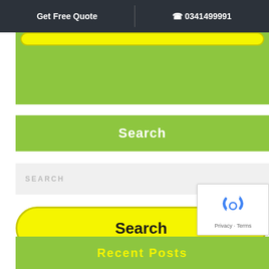Get Free Quote  |  ☎ 0341499991
[Figure (screenshot): Partial green banner with yellow pill button at the top, cut off from above]
Search
SEARCH (placeholder in input box)
Search (yellow button)
[Figure (other): Google reCAPTCHA badge with recycling arrow icon and Privacy - Terms text]
Recent Posts